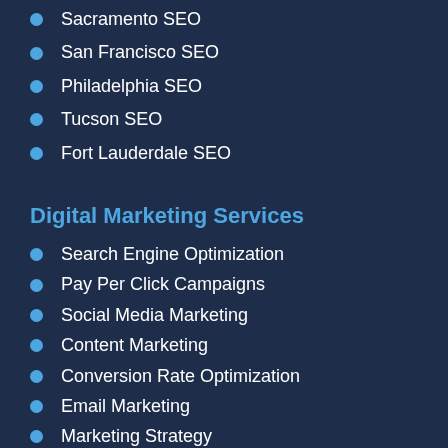Sacramento SEO
San Francisco SEO
Philadelphia SEO
Tucson SEO
Fort Lauderdale SEO
Digital Marketing Services
Search Engine Optimization
Pay Per Click Campaigns
Social Media Marketing
Content Marketing
Conversion Rate Optimization
Email Marketing
Marketing Strategy